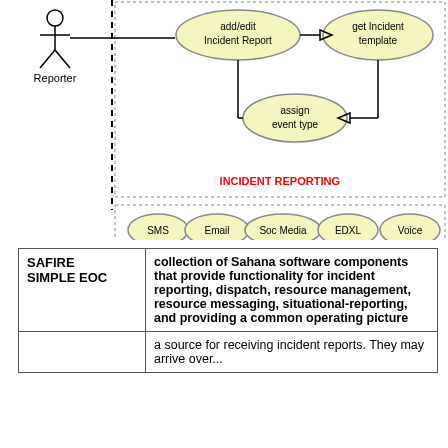[Figure (flowchart): UML use-case or data-flow diagram showing: Reporter actor connected via dashed vertical line to system boundary. Ovals labeled 'add/edit Incident Report', 'get Incident template', 'assign event type' connected by arrows. Lower section shows ovals: SMS, Email, Soc Media, EDXL, Voice. Box labeled 'INCIDENT REPORTING' in red. Dashed boundary lines delineate subsystems.]
|  |  |
| --- | --- |
| SAFIRE SIMPLE EOC | collection of Sahana software components that provide functionality for incident reporting, dispatch, resource management, resource messaging, situational-reporting, and providing a common operating picture |
|  | a source for receiving incident reports. They may arrive over... |